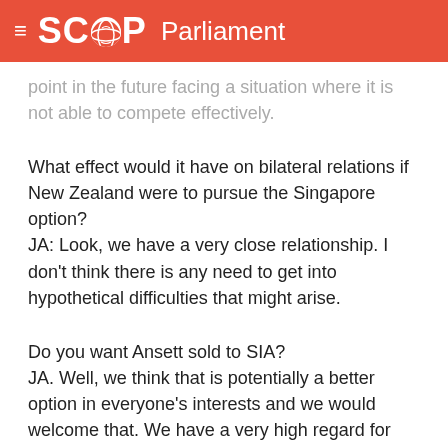SCOOP Parliament
point in the future facing a situation where it is not able to compete effectively.
What effect would it have on bilateral relations if New Zealand were to pursue the Singapore option?
JA: Look, we have a very close relationship. I don't think there is any need to get into hypothetical difficulties that might arise.
Do you want Ansett sold to SIA?
JA. Well, we think that is potentially a better option in everyone's interests and we would welcome that. We have a very high regard for Singapore.